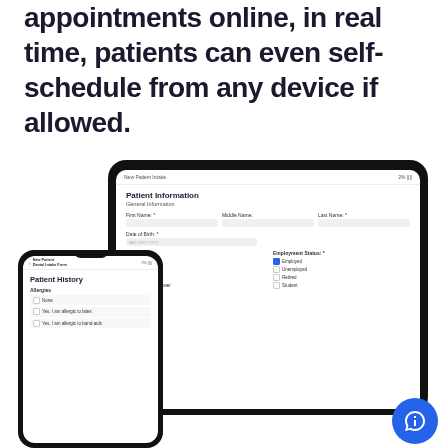appointments online, in real time, patients can even self-schedule from any device if allowed.
[Figure (screenshot): A tablet and a smartphone displaying a medical patient intake and patient history form interface. The tablet shows a 'Patient Information' form with fields for First Name, Middle Name, Last Name, Date of Birth, Sex (Female checked), and Employment Status (Employed checked). The phone shows a 'Patient History' form with an Allergies section including checkboxes for None, Yes I am allergic to latex, and Yes I am allergic to band-aids. A blue chat bubble icon appears in the bottom right.]